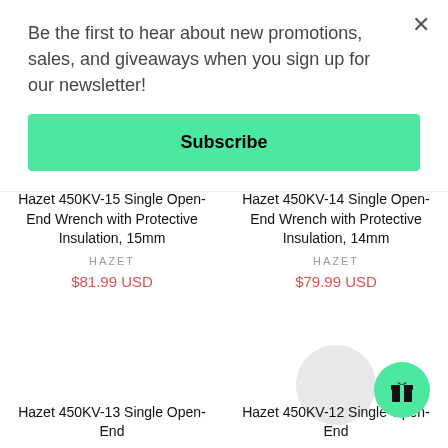Be the first to hear about new promotions, sales, and giveaways when you sign up for our newsletter!
Subscribe
Hazet 450KV-15 Single Open-End Wrench with Protective Insulation, 15mm
HAZET
$81.99 USD
Hazet 450KV-14 Single Open-End Wrench with Protective Insulation, 14mm
HAZET
$79.99 USD
Hazet 450KV-13 Single Open-End
Hazet 450KV-12 Single Open-End